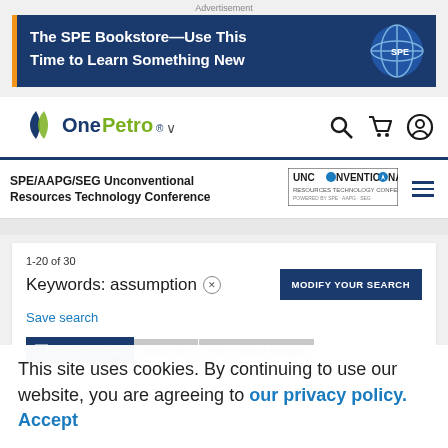Advertisement
[Figure (illustration): Advertisement banner for The SPE Bookstore with text 'The SPE Bookstore—Use This Time to Learn Something New' and SPE globe logo]
[Figure (logo): OnePetro logo with stylized P and chevron mark, olive/gold text]
SPE/AAPG/SEG Unconventional Resources Technology Conference
[Figure (logo): UNCONVENTIONAL Resources Technology Conference logo]
1-20 of 30
Keywords: assumption
MODIFY YOUR SEARCH
Save search
Select All on Page   Add to Cart   Add to Citation Manager
This site uses cookies. By continuing to use our website, you are agreeing to our privacy policy. Accept
Sort by   Relevancy